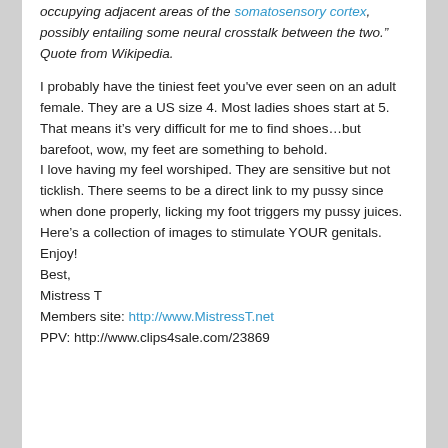occupying adjacent areas of the somatosensory cortex, possibly entailing some neural crosstalk between the two." Quote from Wikipedia.
I probably have the tiniest feet you've ever seen on an adult female. They are a US size 4. Most ladies shoes start at 5. That means it's very difficult for me to find shoes…but barefoot, wow, my feet are something to behold.
I love having my feel worshiped. They are sensitive but not ticklish. There seems to be a direct link to my pussy since when done properly, licking my foot triggers my pussy juices.
Here's a collection of images to stimulate YOUR genitals. Enjoy!
Best,
Mistress T
Members site: http://www.MistressT.net
PPV: http://www.clips4sale.com/23869